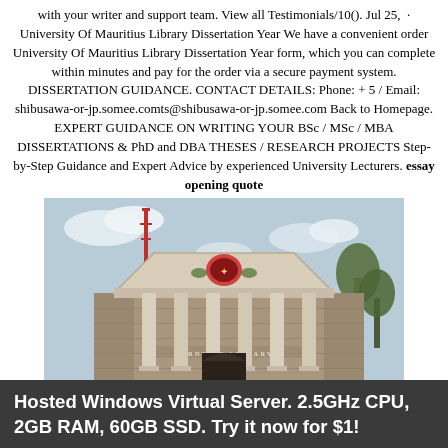with your writer and support team. View all Testimonials/10(). Jul 25,  · University Of Mauritius Library Dissertation Year We have a convenient order University Of Mauritius Library Dissertation Year form, which you can complete within minutes and pay for the order via a secure payment system. DISSERTATION GUIDANCE. CONTACT DETAILS: Phone: + 5 / Email: shibusawa-or-jp.somee.comts@shibusawa-or-jp.somee.com Back to Homepage. EXPERT GUIDANCE ON WRITING YOUR BSc / MSc / MBA DISSERTATIONS & PhD and DBA THESES / RESEARCH PROJECTS Step-by-Step Guidance and Expert Advice by experienced University Lecturers. essay opening quote
[Figure (photo): Photograph of Carnegie Library building at University of Mauritius — a classical colonial-style building with a triangular pediment, columns, and brick facade under a partly cloudy sky.]
Hosted Windows Virtual Server. 2.5GHz CPU, 2GB RAM, 60GB SSD. Try it now for $1!